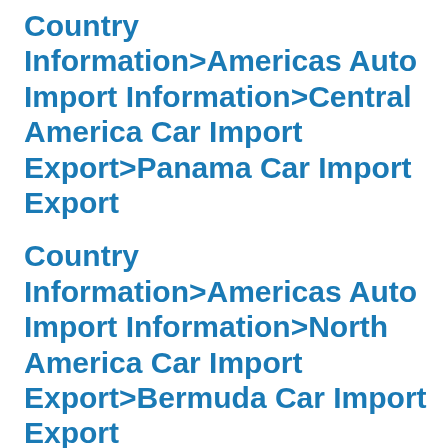Country Information>Americas Auto Import Information>Central America Car Import Export>Panama Car Import Export
Country Information>Americas Auto Import Information>North America Car Import Export>Bermuda Car Import Export
Country Information>Americas Auto Import Information>North America Car Import Export>Canada Car Import Export